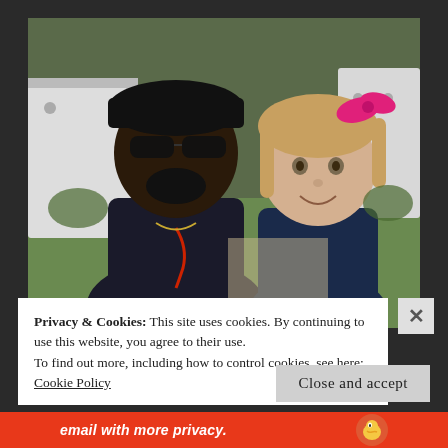[Figure (photo): A smiling Black man wearing a dark cap, sunglasses, and black jacket with red earbuds, posing with a young blonde girl wearing a pink bow and dark jacket. Background shows a white vehicle and green grass/trees.]
Privacy & Cookies: This site uses cookies. By continuing to use this website, you agree to their use.
To find out more, including how to control cookies, see here:
Cookie Policy
Close and accept
email with more privacy.